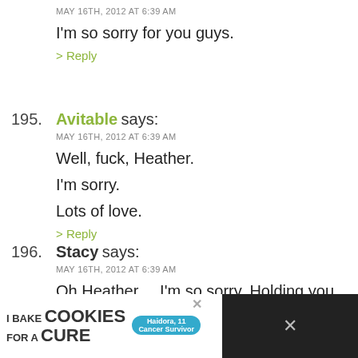MAY 16TH, 2012 AT 6:39 AM
I'm so sorry for you guys.
> Reply
195. Avitable says:
MAY 16TH, 2012 AT 6:39 AM
Well, fuck, Heather.
I'm sorry.
Lots of love.
> Reply
196. Stacy says:
MAY 16TH, 2012 AT 6:39 AM
Oh Heather.... I'm so sorry. Holding you, Mike and Anni today.
> Reply
[Figure (screenshot): Advertisement banner: 'I Bake COOKIES For A CURE' with a girl holding cookies, 'So can you!' badge, and cookies for kids cancer logo. Dark background on right side with social media icons.]